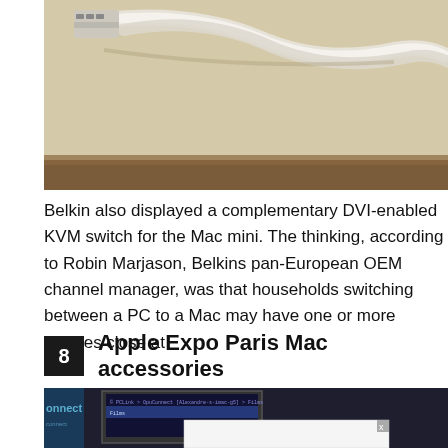[Figure (photo): Top portion of a photo showing white cables/connectors against a beige/tan background, appears to be computer peripheral cables.]
Belkin also displayed a complementary DVI-enabled KVM switch for the Mac mini. The thinking, according to Robin Marjason, Belkins pan-European OEM channel manager, was that households switching between a PC to a Mac may have one or more devices close at
8  Apple Expo Paris Mac accessories
[Figure (photo): Bottom portion of a photo showing a monitor/screen in a dark setting with 'onnect' text visible on the left, a terminal/command window on screen, and a white popup dialog with an X close button.]